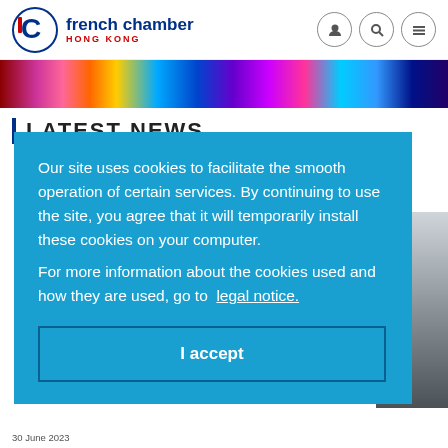[Figure (logo): French Chamber Hong Kong logo with stylized C icon in blue and red]
Our site uses cookies to facilitate the smooth operation of certain services. By continuing to use the site, you agree that it will temporarily install these cookies on your computer.
For more information about the cookies used and how they are used, go to legal notice.
I accept
LATEST NEWS
30 June 2023